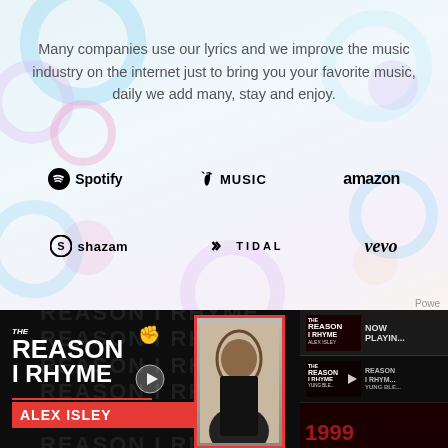[Figure (screenshot): Top portion of a music lyrics website showing decorative bubble background with text about the service and partner logos including Spotify, Apple Music, Amazon, Shazam, Tidal, and Vevo.]
Many companies use our lyrics and we improve the music industry on the internet just to bring you your favorite music, daily we add many, stay and enjoy.
[Figure (logo): Row of music platform logos: Spotify, Apple Music, Amazon, Shazam, Tidal, Vevo]
[Figure (screenshot): Video section showing 'The Reason I Rhyme' featuring Alex Isley with a main player and sidebar thumbnails including Now Playing and Yung Ble episodes, and a 1999 thumbnail at bottom right.]